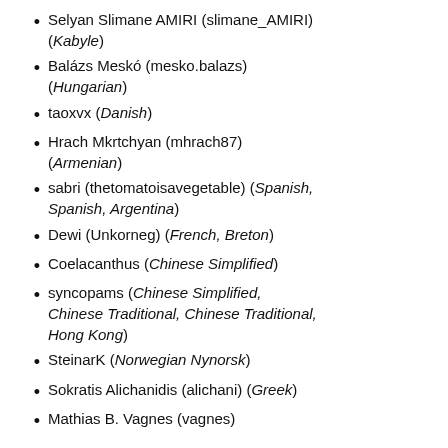Selyan Slimane AMIRI (slimane_AMIRI) (Kabyle)
Balázs Meskó (mesko.balazs) (Hungarian)
taoxvx (Danish)
Hrach Mkrtchyan (mhrach87) (Armenian)
sabri (thetomatoisavegetable) (Spanish, Spanish, Argentina)
Dewi (Unkorneg) (French, Breton)
Coelacanthus (Chinese Simplified)
syncopams (Chinese Simplified, Chinese Traditional, Chinese Traditional, Hong Kong)
SteinarK (Norwegian Nynorsk)
Sokratis Alichanidis (alichani) (Greek)
Mathias B. Vagnes (vagnes)